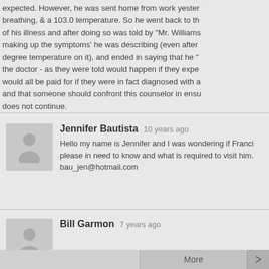expected. However, he was sent home from work yesterday with difficulty breathing, & a 103.0 temperature. So he went back to the doctor because of his illness and after doing so was told by "Mr. Williams" that he was making up the symptoms' he was describing (even after showing a 103 degree temperature on it), and ended in saying that he "would bill" the doctor - as they were told would happen if they expected. It stated it would all be paid for if they were in fact diagnosed with a illness/disease and that someone should confront this counselor in ensuring this behavior does not continue.
Jennifer Bautista  10 years ago
Hello my name is Jennifer and I was wondering if Francis is in prison please in need to know and what is required to visit him. Email: bau_jen@hotmail.com
Bill Garmon  7 years ago
More